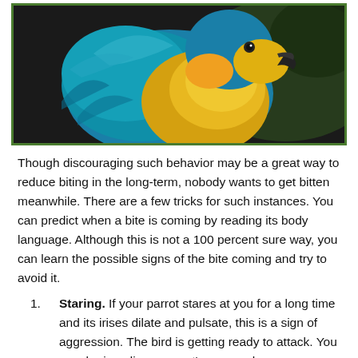[Figure (photo): A blue and yellow macaw parrot with vibrant teal-blue feathers, yellow chest, perched against a dark blurred background.]
Though discouraging such behavior may be a great way to reduce biting in the long-term, nobody wants to get bitten meanwhile. There are a few tricks for such instances. You can predict when a bite is coming by reading its body language. Although this is not a 100 percent sure way, you can learn the possible signs of the bite coming and try to avoid it.
Staring. If your parrot stares at you for a long time and its irises dilate and pulsate, this is a sign of aggression. The bird is getting ready to attack. You may be invading a parrot's personal space.
Feathers ruffled or flattened. Ruffled feathers can also indicate aggression or your parrot's discomfort. Flattened feathers, on the contrary, mean that the parrot is scared. But